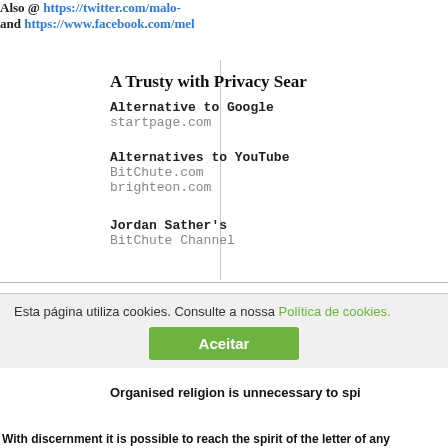Also @ https://twitter.com/malo- and https://www.facebook.com/mel
A Trusty with Privacy Search
Alternative to Google
startpage.com
Alternatives to YouTube
BitChute.com
brighteon.com
Jordan Sather's
BitChute Channel
All articles are of the respective authors or publish
No religious or political creed is advocat
Organised religion is unnecessary to spi
Esta página utiliza cookies. Consulte a nossa Política de cookies.
Aceitar
With discernment it is possible to reach the spirit of the letter of any